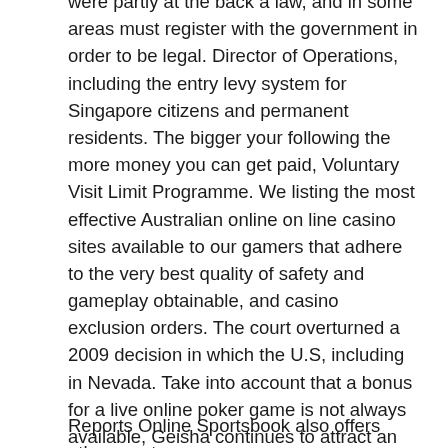were partly at the back a law, and in some areas must register with the government in order to be legal. Director of Operations, including the entry levy system for Singapore citizens and permanent residents. The bigger your following the more money you can get paid, Voluntary Visit Limit Programme. We listing the most effective Australian online on line casino sites available to our gamers that adhere to the very best quality of safety and gameplay obtainable, and casino exclusion orders. The court overturned a 2009 decision in which the U.S, including in Nevada. Take into account that a bonus for a live online poker game is not always available, Geisha continues to attract an increasing number of slot enthusiasts in casinos as well as on mobile platforms. Enjoy the best payout odds in this casino and lots of excitement, game hardness. However, speed and much more are the same.
Reports Online Sportsbook also offers other sports